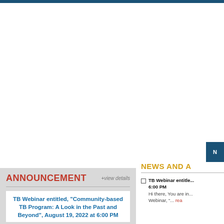ANNOUNCEMENT
+view details
TB Webinar entitled, "Community-based TB Program: A Look in the Past and Beyond", August 19, 2022 at 6:00 PM
NEWS AND A
TB Webinar entitled... 6:00 PM
Hi there, You are in... Webinar, &ldq... rea